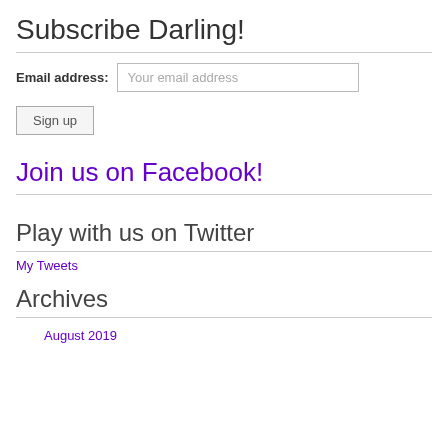Subscribe Darling!
Email address: Your email address
Sign up
Join us on Facebook!
Play with us on Twitter
My Tweets
Archives
August 2019